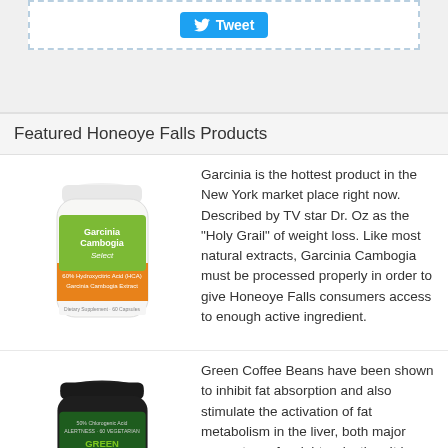[Figure (screenshot): Twitter Tweet button in blue rounded rectangle]
Featured Honeoye Falls Products
[Figure (photo): Garcinia Cambogia Select supplement bottle - white bottle with green/orange label]
Garcinia is the hottest product in the New York market place right now. Described by TV star Dr. Oz as the "Holy Grail" of weight loss. Like most natural extracts, Garcinia Cambogia must be processed properly in order to give Honeoye Falls consumers access to enough active ingredient.
[Figure (photo): Green Coffee Bean Max - GCA supplement bottle, dark green label with yellow GCA logo]
Green Coffee Beans have been shown to inhibit fat absorption and also stimulate the activation of fat metabolism in the liver, both major supporters of weight reduction. It has been found to inhibit the release of glucose into the blood to help people lose weight fast.